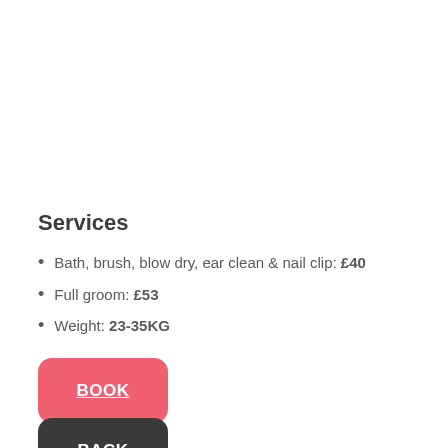Services
Bath, brush, blow dry, ear clean & nail clip: £40
Full groom: £53
Weight: 23-35KG
BOOK
BACK